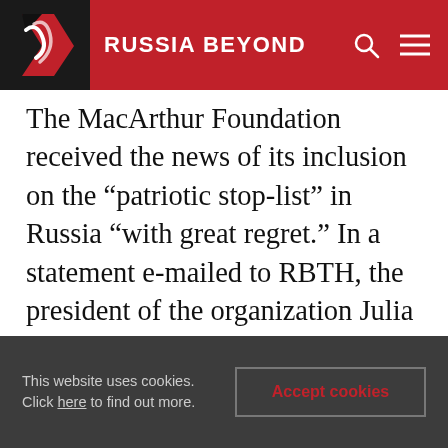RUSSIA BEYOND
The MacArthur Foundation received the news of its inclusion on the “patriotic stop-list” in Russia “with great regret.” In a statement e-mailed to RBTH, the president of the organization Julia Stasch said: "We are disappointed." It went on to say that the MacArthur Foundation hopes that it will be established that its "activities have always been in compliance with Russian law."
"The MacArthur Foundation is entirely independent of and receives no funding from the United States government. We do not engage in or
This website uses cookies. Click here to find out more.
Accept cookies